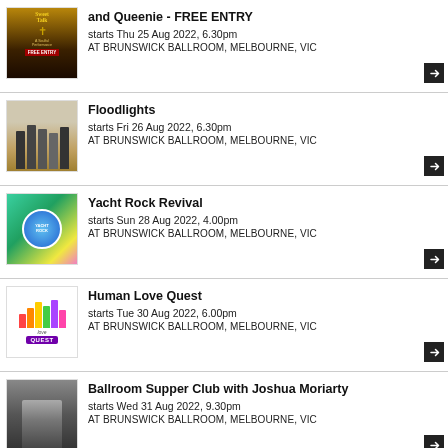and Queenie - FREE ENTRY
starts Thu 25 Aug 2022, 6.30pm
at BRUNSWICK BALLROOM, MELBOURNE, VIC
Floodlights
starts Fri 26 Aug 2022, 6.30pm
at BRUNSWICK BALLROOM, MELBOURNE, VIC
Yacht Rock Revival
starts Sun 28 Aug 2022, 4.00pm
at BRUNSWICK BALLROOM, MELBOURNE, VIC
Human Love Quest
starts Tue 30 Aug 2022, 6.00pm
at BRUNSWICK BALLROOM, MELBOURNE, VIC
Ballroom Supper Club with Joshua Moriarty
starts Wed 31 Aug 2022, 9.30pm
at BRUNSWICK BALLROOM, MELBOURNE, VIC